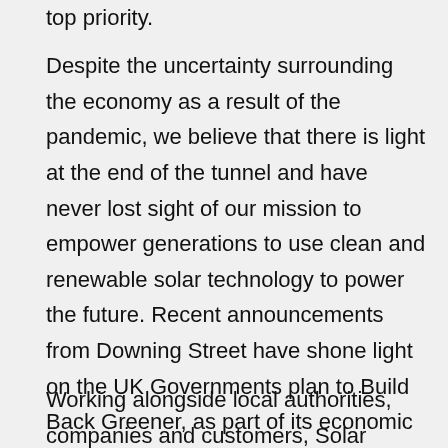top priority.
Despite the uncertainty surrounding the economy as a result of the pandemic, we believe that there is light at the end of the tunnel and have never lost sight of our mission to empower generations to use clean and renewable solar technology to power the future. Recent announcements from Downing Street have shone light on the UK Governments plan to Build Back Greener, as part of its economic recovery package. This alongside wider targets for Net Zero Carbon emissions pave the way for a renewable energy future, and we believe solar should be at the forefront.
Working alongside local authorities, companies and customers, Solar Capture continues to be at the